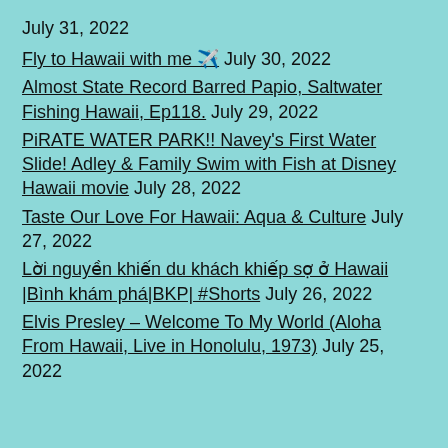July 31, 2022
Fly to Hawaii with me ✈️ July 30, 2022
Almost State Record Barred Papio, Saltwater Fishing Hawaii, Ep118. July 29, 2022
PiRATE WATER PARK!! Navey's First Water Slide! Adley & Family Swim with Fish at Disney Hawaii movie July 28, 2022
Taste Our Love For Hawaii: Aqua & Culture July 27, 2022
Lời nguyền khiến du khách khiếp sợ ở Hawaii |Bình khám phá|BKP| #Shorts July 26, 2022
Elvis Presley – Welcome To My World (Aloha From Hawaii, Live in Honolulu, 1973) July 25, 2022